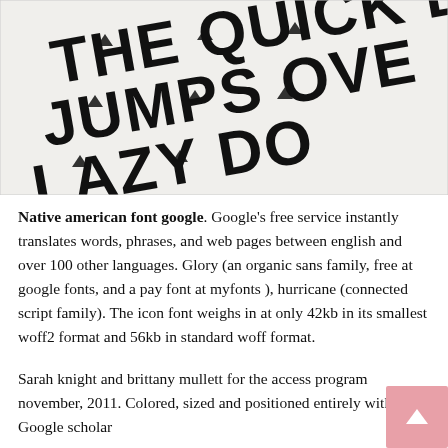[Figure (photo): Close-up photograph of decorative typography showing fragments of the pangram 'The quick brown fox jumps over the lazy dog' in a stylized font with small downward arrow symbols incorporated into the letters, on a light background.]
Native american font google. Google's free service instantly translates words, phrases, and web pages between english and over 100 other languages. Glory (an organic sans family, free at google fonts, and a pay font at myfonts ), hurricane (connected script family). The icon font weighs in at only 42kb in its smallest woff2 format and 56kb in standard woff format.
Sarah knight and brittany mullett for the access program november, 2011. Colored, sized and positioned entirely with css. Google scholar